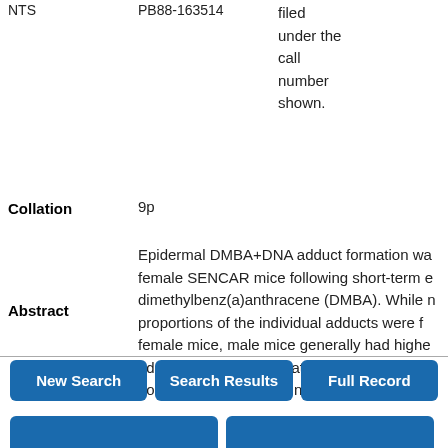NTS    PB88-163514    filed under the call number shown.
Collation    9p
Abstract    Epidermal DMBA+DNA adduct formation was studied in male and female SENCAR mice following short-term exposure to 7,12-dimethylbenz(a)anthracene (DMBA). While no sex differences in the proportions of the individual adducts were found for male and female mice, male mice generally had higher levels of each adduct as well as a greater total binding of DMBA to DNA 24 hours after topical administration. Additionally...
New Search    Search Results    Full Record